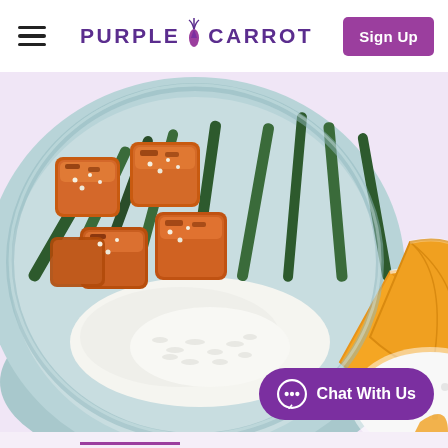Purple Carrot — Sign Up
[Figure (photo): Overhead view of a blue ceramic bowl containing white rice, charred orange-glazed tofu cubes with sesame seeds, roasted green beans, and two fresh orange wedges, on a pale lavender background with a second patterned bowl partially visible at bottom right.]
Chat With Us